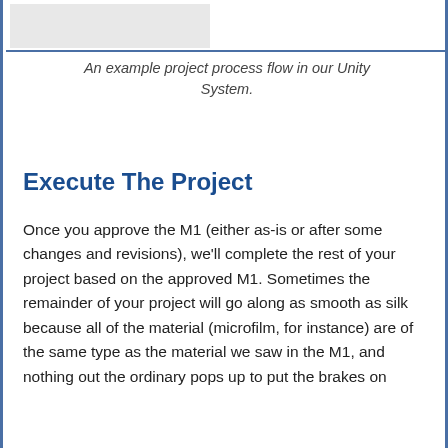[Figure (other): Top portion of a project process flow diagram in Unity System (partially visible at top of page)]
An example project process flow in our Unity System.
Execute The Project
Once you approve the M1 (either as-is or after some changes and revisions), we’ll complete the rest of your project based on the approved M1. Sometimes the remainder of your project will go along as smooth as silk because all of the material (microfilm, for instance) are of the same type as the material we saw in the M1, and nothing out the ordinary pops up to put the brakes on